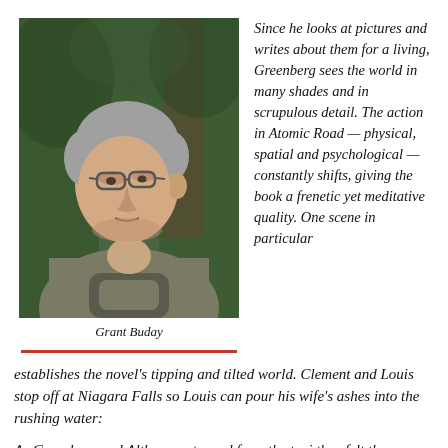[Figure (photo): Portrait photo of Grant Buday, an older man with grey hair and glasses, wearing a grey hoodie, looking to the side with trees/foliage in the background.]
Grant Buday
Since he looks at pictures and writes about them for a living, Greenberg sees the world in many shades and in scrupulous detail. The action in Atomic Road — physical, spatial and psychological — constantly shifts, giving the book a frenetic yet meditative quality. One scene in particular establishes the novel's tipping and tilted world. Clement and Louis stop off at Niagara Falls so Louis can pour his wife's ashes into the rushing water:
As Greenberg and Althusser stepped from the taxi they felt the